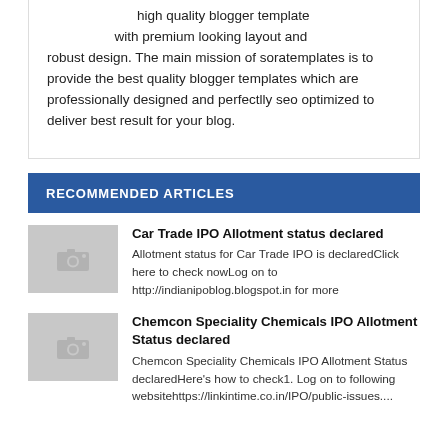high quality blogger template with premium looking layout and robust design. The main mission of soratemplates is to provide the best quality blogger templates which are professionally designed and perfectlly seo optimized to deliver best result for your blog.
RECOMMENDED ARTICLES
Car Trade IPO Allotment status declared
Allotment status for Car Trade IPO is declaredClick here to check nowLog on to http://indianipoblog.blogspot.in for more
Chemcon Speciality Chemicals IPO Allotment Status declared
Chemcon Speciality Chemicals IPO Allotment Status declaredHere's how to check1. Log on to following websitehttps://linkintime.co.in/IPO/public-issues....